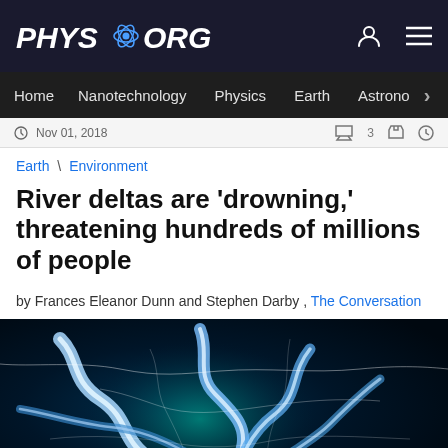PHYS.ORG
Home \ Nanotechnology \ Physics \ Earth \ Astronomy >
Nov 01, 2018
Earth \ Environment
River deltas are 'drowning,' threatening hundreds of millions of people
by Frances Eleanor Dunn and Stephen Darby , The Conversation
[Figure (photo): Aerial/satellite view of a river delta with blue river channels branching across a dark teal background, showing the distinctive branching pattern of a major river delta system.]